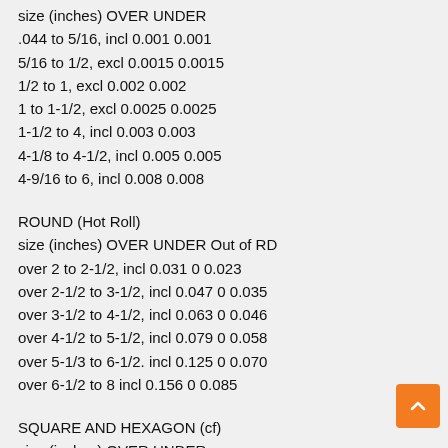size (inches) OVER UNDER
.044 to 5/16, incl 0.001 0.001
5/16 to 1/2, excl 0.0015 0.0015
1/2 to 1, excl 0.002 0.002
1 to 1-1/2, excl 0.0025 0.0025
1-1/2 to 4, incl 0.003 0.003
4-1/8 to 4-1/2, incl 0.005 0.005
4-9/16 to 6, incl 0.008 0.008
ROUND (Hot Roll)
size (inches) OVER UNDER Out of RD
over 2 to 2-1/2, incl 0.031 0 0.023
over 2-1/2 to 3-1/2, incl 0.047 0 0.035
over 3-1/2 to 4-1/2, incl 0.063 0 0.046
over 4-1/2 to 5-1/2, incl 0.079 0 0.058
over 5-1/3 to 6-1/2. incl 0.125 0 0.070
over 6-1/2 to 8 incl 0.156 0 0.085
SQUARE AND HEXAGON (cf)
size (inches) OVER UNDER
1/8 to 5/16, excl 0 0.002